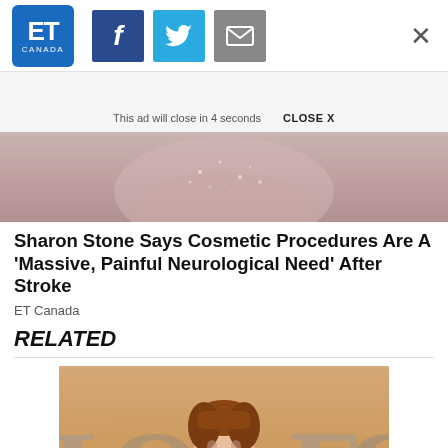[Figure (logo): ET Canada logo — blue rounded square with ET in white and CANADA below]
[Figure (screenshot): Social sharing buttons: Facebook (blue), Twitter (light blue), Email (gray), and an X close button on the right]
This ad will close in 4 seconds   CLOSE X
[Figure (photo): Partial photo of Sharon Stone in a sparkling dress, shown from roughly waist up, in grayscale/muted pink tones]
Sharon Stone Says Cosmetic Procedures Are A 'Massive, Painful Neurological Need' After Stroke
ET Canada
RELATED
[Figure (photo): Photo of a woman (J.K. Rowling) with auburn hair standing in front of a large decorative letter backdrop in warm orange/brown tones]